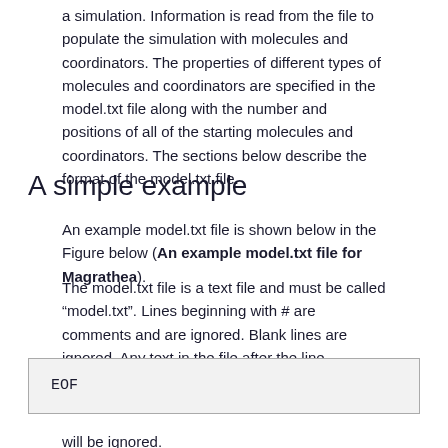a simulation. Information is read from the file to populate the simulation with molecules and coordinators. The properties of different types of molecules and coordinators are specified in the model.txt file along with the number and positions of all of the starting molecules and coordinators. The sections below describe the format of the model.txt file.
A simple example
An example model.txt file is shown below in the Figure below (An example model.txt file for Magrathea).
The model.txt file is a text file and must be called “model.txt”. Lines beginning with # are comments and are ignored. Blank lines are ignored. Any text in the file after the line
EOF
will be ignored.